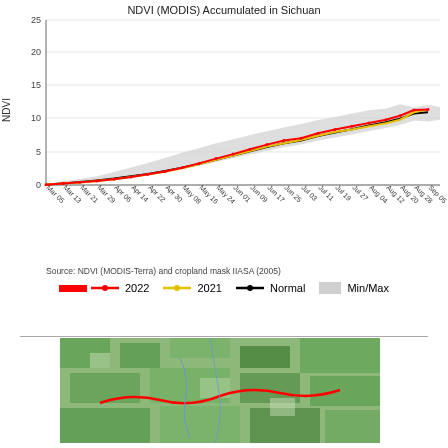[Figure (line-chart): NDVI (MODIS) Accumulated in Sichuan]
Source: NDVI (MODIS-Terra) and cropland mask IIASA (2005)
[Figure (map): Satellite or land cover map of Sichuan region showing green vegetation and red boundary lines.]